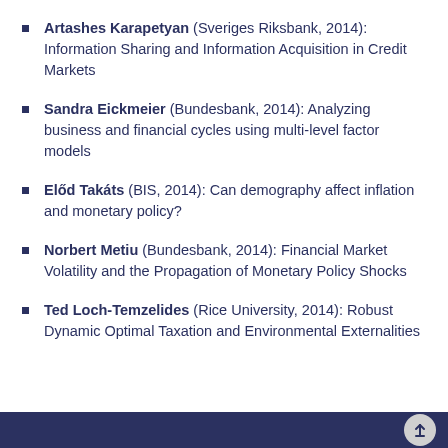Artashes Karapetyan (Sveriges Riksbank, 2014): Information Sharing and Information Acquisition in Credit Markets
Sandra Eickmeier (Bundesbank, 2014): Analyzing business and financial cycles using multi-level factor models
Előd Takáts (BIS, 2014): Can demography affect inflation and monetary policy?
Norbert Metiu (Bundesbank, 2014): Financial Market Volatility and the Propagation of Monetary Policy Shocks
Ted Loch-Temzelides (Rice University, 2014): Robust Dynamic Optimal Taxation and Environmental Externalities